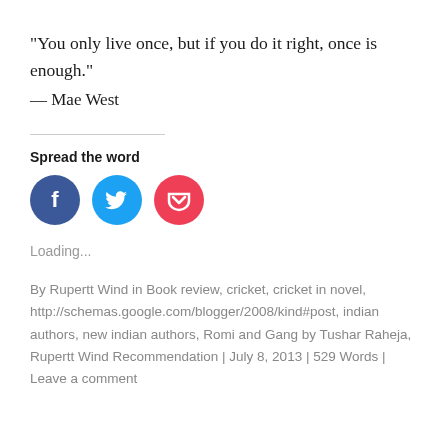“You only live once, but if you do it right, once is enough.”
— Mae West
Spread the word
[Figure (infographic): Three circular social share buttons: Facebook (blue), Twitter (light blue), Pocket (red/pink)]
Loading...
By Rupertt Wind in Book review, cricket, cricket in novel, http://schemas.google.com/blogger/2008/kind#post, indian authors, new indian authors, Romi and Gang by Tushar Raheja, Rupertt Wind Recommendation | July 8, 2013 | 529 Words | Leave a comment